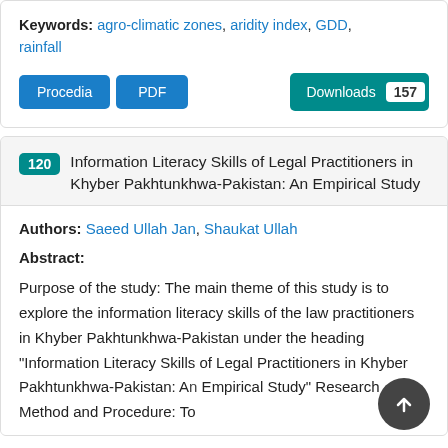Keywords: agro-climatic zones, aridity index, GDD, rainfall
Procedia | PDF | Downloads 157
120 Information Literacy Skills of Legal Practitioners in Khyber Pakhtunkhwa-Pakistan: An Empirical Study
Authors: Saeed Ullah Jan, Shaukat Ullah
Abstract:
Purpose of the study: The main theme of this study is to explore the information literacy skills of the law practitioners in Khyber Pakhtunkhwa-Pakistan under the heading "Information Literacy Skills of Legal Practitioners in Khyber Pakhtunkhwa-Pakistan: An Empirical Study" Research Method and Procedure: To